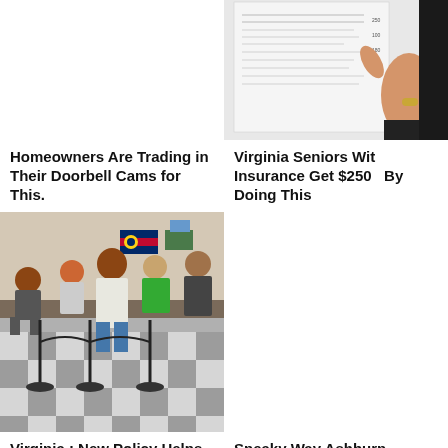[Figure (photo): Empty/blank top-left cell (no image visible)]
[Figure (photo): Person holding and pointing at an insurance document with a ringed hand]
Homeowners Are Trading in Their Doorbell Cams for This.
Virginia Seniors With Insurance Get $250k By Doing This
[Figure (photo): People standing in line at a government/DMV office with stanchion ropes on a checkered floor, Colorado flag visible on wall]
[Figure (photo): Empty/blank bottom-right cell (no image visible)]
Virginia : New Policy Helps 90% of Drivers Who Are Overpaying for Insurance
Sneaky Way Ashburn Homeowners Are Getting Their Old...